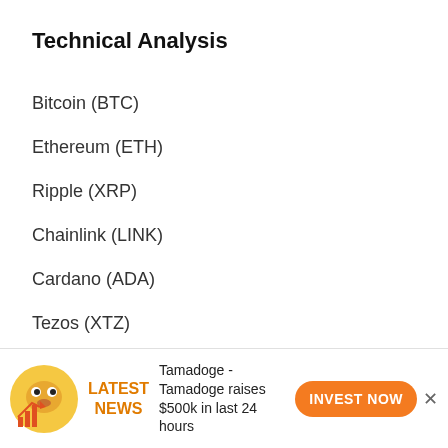Technical Analysis
Bitcoin (BTC)
Ethereum (ETH)
Ripple (XRP)
Chainlink (LINK)
Cardano (ADA)
Tezos (XTZ)
LINKS
Crypto Prices from Nomics
Cryptocurrency news
This website uses cookies. By continuing to use this website
LATEST NEWS  Tamadoge - Tamadoge raises $500k in last 24 hours  INVEST NOW